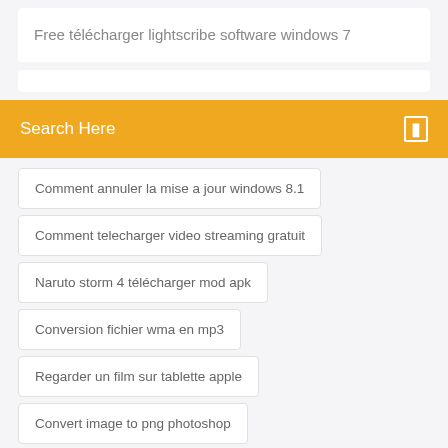Free télécharger lightscribe software windows 7
Search Here
Comment annuler la mise a jour windows 8.1
Comment telecharger video streaming gratuit
Naruto storm 4 télécharger mod apk
Conversion fichier wma en mp3
Regarder un film sur tablette apple
Convert image to png photoshop